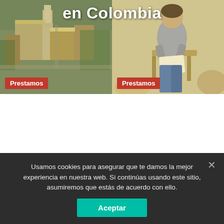en Colombia
[Figure (photo): Aerial view of Texas university campus with tower building and red-roofed buildings]
[Figure (photo): Student sitting in classroom chair, leaning forward, reading or studying]
Prestamos
Prestamos
Student Loans in Texas: Debt Stats, Repayment Programs and Refinancing
73% of Undergrads With Student Loans Are Worried About Repaying Their Debt,
Usamos cookies para asegurar que te damos la mejor experiencia en nuestra web. Si continúas usando este sitio, asumiremos que estás de acuerdo con ello.
Aceptar